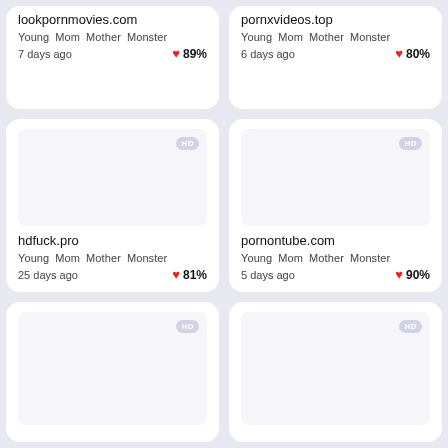lookpornmovies.com
Young Mom Mother Monster
7 days ago
89%
pornxvideos.top
Young Mom Mother Monster
6 days ago
80%
hdfuck.pro
Young Mom Mother Monster
25 days ago
81%
pornontube.com
Young Mom Mother Monster
5 days ago
90%
[Figure (other): Partially visible card with HD badge]
[Figure (other): Partially visible card with HD badge]